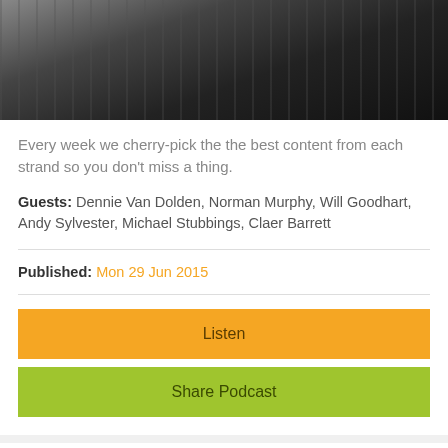[Figure (photo): Black and white photo of a person at what appears to be a keyboard or equipment, partially cropped]
Every week we cherry-pick the the best content from each strand so you don't miss a thing.
Guests: Dennie Van Dolden, Norman Murphy, Will Goodhart, Andy Sylvester, Michael Stubbings, Claer Barrett
Published: Mon 29 Jun 2015
Listen
Share Podcast
Share Politics: LGBT Pride